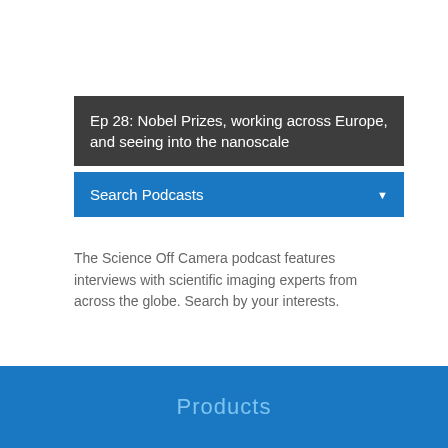Ep 28: Nobel Prizes, working across Europe, and seeing into the nanoscale
Search Podcasts
The Science Off Camera podcast features interviews with scientific imaging experts from across the globe. Search by your interests.
Products